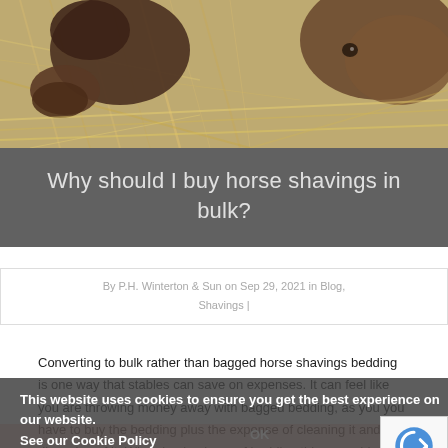[Figure (photo): Two horses eating hay, close-up photo showing brown horse heads and straw/hay in the background]
Why should I buy horse shavings in bulk?
By P.H. Winterton & Sun on Sep 29, 2021 in Blog, Shavings |
Converting to bulk rather than bagged horse shavings bedding is one way that stables can save on expenses. It can feel like you are throwing money away with bagged bedding, as you you have to buy the bedding plus the expense of cleaning it and then disposing of it. When buying bags of bedding this can add up fast, whereas bulk buying can save on expenses. Bulk horse shavings have a smaller price tag because of the econo[mies of] scale. Since bulk materials arrive loose, either in a trailer [or the] back of a dump truck, there is no plastic waste. Stables
This website uses cookies to ensure you get the best experience on our website. See our Cookie Policy
OK